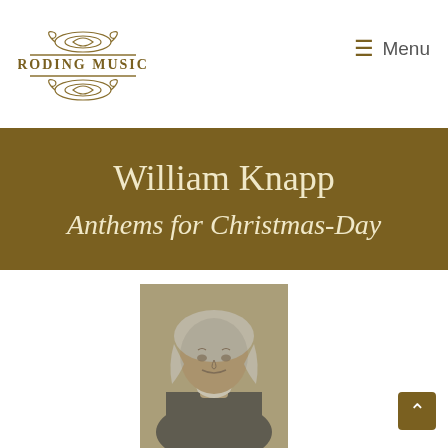Roding Music | Menu
William Knapp
Anthems for Christmas-Day
[Figure (photo): Black and white portrait of William Knapp, an 18th century man wearing a wig and period clothing, shown from chest up]